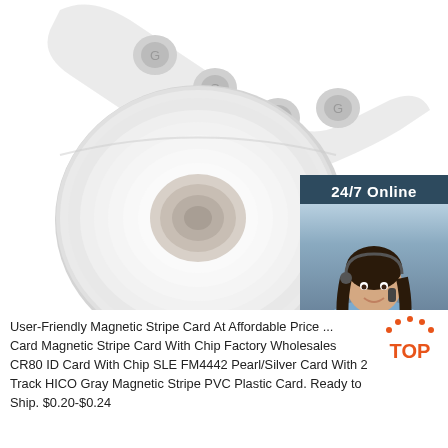[Figure (photo): A roll of NFC sticker tape/labels on a white background. The roll shows circular NFC tags on a transparent tape strip curling upward. There is also a customer service chat widget overlay in the top-right showing a woman with a headset, '24/7 Online' header, 'Click here for free chat!' text, and an orange 'QUOTATION' button.]
User-Friendly Magnetic Stripe Card At Affordable Price ... Card Magnetic Stripe Card With Chip Factory Wholesales CR80 ID Card With Chip SLE FM4442 Pearl/Silver Card With 2 Track HICO Gray Magnetic Stripe PVC Plastic Card. Ready to Ship. $0.20-$0.24